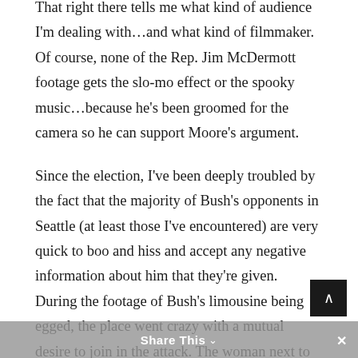That right there tells me what kind of audience I'm dealing with…and what kind of filmmaker. Of course, none of the Rep. Jim McDermott footage gets the slo-mo effect or the spooky music…because he's been groomed for the camera so he can support Moore's argument.
Since the election, I've been deeply troubled by the fact that the majority of Bush's opponents in Seattle (at least those I've encountered) are very quick to boo and hiss and accept any negative information about him that they're given. During the footage of Bush's limousine being egged, the place went crazy with a mutual desire to join in the attack. The woman next to me gasped every time Michael
Share This